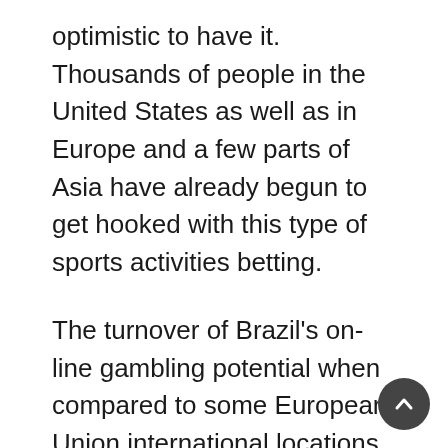optimistic to have it. Thousands of people in the United States as well as in Europe and a few parts of Asia have already begun to get hooked with this type of sports activities betting.
The turnover of Brazil's on-line gambling potential when compared to some European Union international locations is statistically vital. 18The BNL is a every day publication with news about lotteries, bingos, casinos, turf, slot machines, bets and animal games. However, the 1946 diploma that made betting on physical establishments in Brazil illegal, could not predict the phenomenon of the web as a non-physical